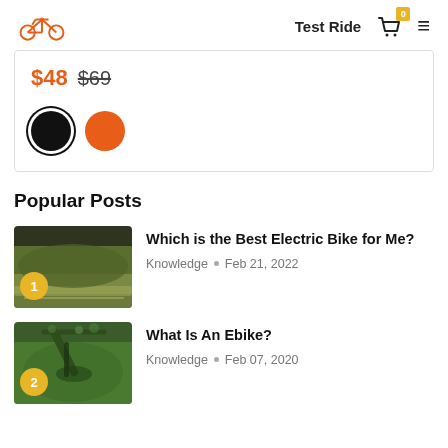Test Ride  [cart: 0]  [menu]
$48  $69
[Figure (illustration): Two color swatches: black circle (selected, with border) and orange circle]
Popular Posts
[Figure (photo): Outdoor landscape with mossy hillside/vegetation, numbered badge '1']
Which is the Best Electric Bike for Me?
Knowledge  •  Feb 21, 2022
[Figure (photo): Close-up of green bicycle handlebars, numbered badge '2']
What Is An Ebike?
Knowledge  •  Feb 07, 2020